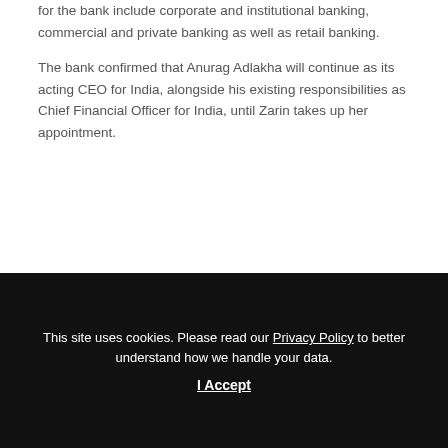for the bank include corporate and institutional banking, commercial and private banking as well as retail banking.

The bank confirmed that Anurag Adlakha will continue as its acting CEO for India, alongside his existing responsibilities as Chief Financial Officer for India, until Zarin takes up her appointment.
Share This Post
[Figure (infographic): Row of five dark grey circular social share icons: Facebook, Twitter, LinkedIn, WhatsApp, Email]
This site uses cookies. Please read our Privacy Policy to better understand how we handle your data.
I Accept